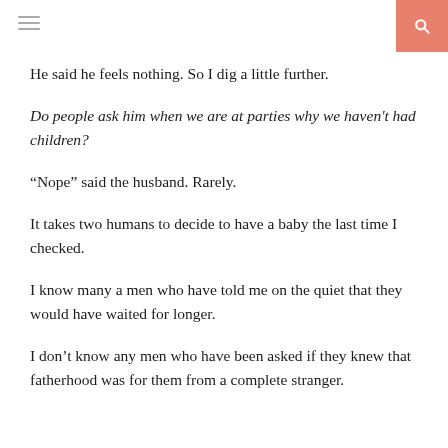[hamburger menu icon] [search icon]
He said he feels nothing. So I dig a little further.
Do people ask him when we are at parties why we haven't had children?
“Nope” said the husband. Rarely.
It takes two humans to decide to have a baby the last time I checked.
I know many a men who have told me on the quiet that they would have waited for longer.
I don’t know any men who have been asked if they knew that fatherhood was for them from a complete stranger.